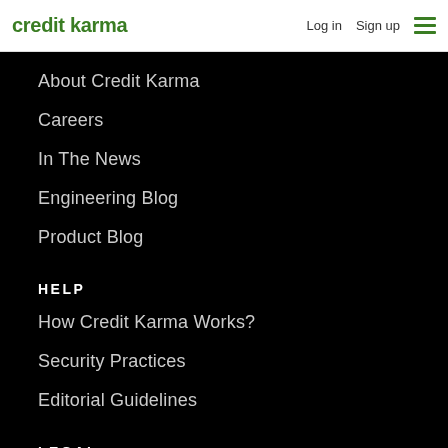credit karma | Log in  Sign up
About Credit Karma
Careers
In The News
Engineering Blog
Product Blog
HELP
How Credit Karma Works?
Security Practices
Editorial Guidelines
LEGAL
Privacy Policy
CA Privacy Policy
Terms of Service